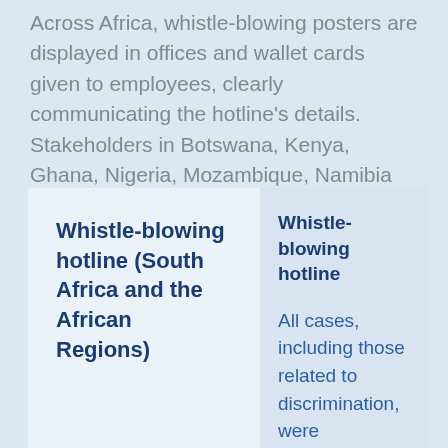Across Africa, whistle-blowing posters are displayed in offices and wallet cards given to employees, clearly communicating the hotline's details. Stakeholders in Botswana, Kenya, Ghana, Nigeria, Mozambique, Namibia and South Africa are able to report concerns in a language local to their country.
Whistle-blowing hotline (South Africa and the African Regions)
Whistle-blowing hotline
All cases, including those related to discrimination, were investigated with f...